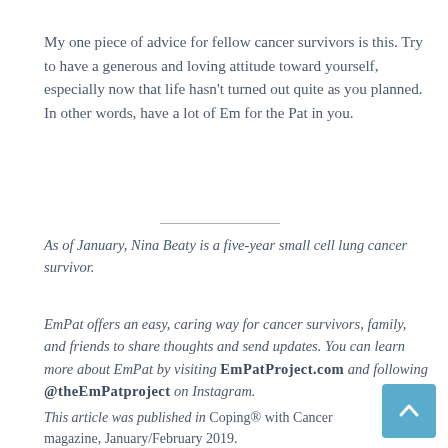My one piece of advice for fellow cancer survivors is this. Try to have a generous and loving attitude toward yourself, especially now that life hasn't turned out quite as you planned. In other words, have a lot of Em for the Pat in you.
As of January, Nina Beaty is a five-year small cell lung cancer survivor.
EmPat offers an easy, caring way for cancer survivors, family, and friends to share thoughts and send updates. You can learn more about EmPat by visiting EmPatProject.com and following @theEmPatproject on Instagram.
This article was published in Coping® with Cancer magazine, January/February 2019.